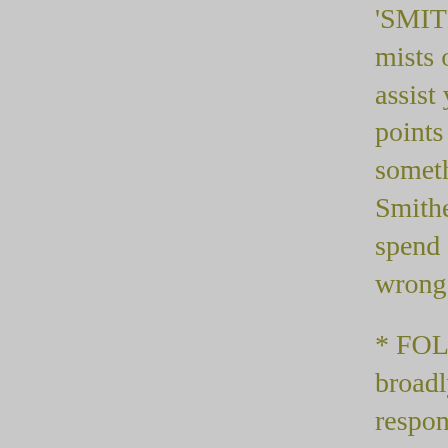'SMITHERS' - why this stat is so called has been lost in the mists of time, but it refers to one or more individuals who assist you. Could be apprentices, sidekick, whatever. The points that go into a Smithers reflect their competence, or something else undescribed. The more incompetent your Smithers is, the more action points (see later) you'll have to spend explaining what you want done, else they could get the wrong end of the stick entirely.
* FOLLOWING - a 'faceless' mass of followers who can broadly be expected to pay attention to what you say. Unlike responsibility, you have no direct control over them. If you have a high Responsibility, it can be thought of as indicating your popularity - how many of your subjects will actually do as you say. A lower Responsibility, it suggests a less conventional network of influence - guild membership, for example, or a level of local fame such that people will take note of you.
* BODY - how physically capable you are - split into strength [physical prowess + endurance], dexterity [agility / accuracy], and fortitude [how capable of standing up to the rigours of magic]. Fortitude determines how many spells a mage can cast